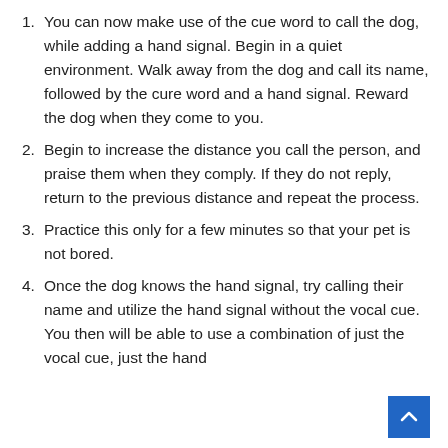1. You can now make use of the cue word to call the dog, while adding a hand signal. Begin in a quiet environment. Walk away from the dog and call its name, followed by the cure word and a hand signal. Reward the dog when they come to you.
2. Begin to increase the distance you call the person, and praise them when they comply. If they do not reply, return to the previous distance and repeat the process.
3. Practice this only for a few minutes so that your pet is not bored.
4. Once the dog knows the hand signal, try calling their name and utilize the hand signal without the vocal cue. You then will be able to use a combination of just the vocal cue, just the hand